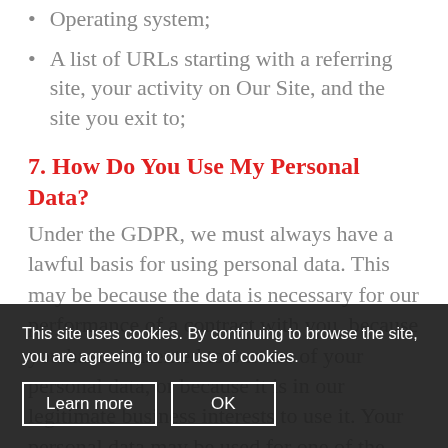Web browser type and version;
Operating system;
A list of URLs starting with a referring site, your activity on Our Site, and the site you exit to;
7. How Do You Use My Personal Data?
Under the GDPR, we must always have a lawful basis for using personal data. This may be because the data is necessary for our performance of a contract with you, because you have consented to our use of your personal data, or because it is in our legitimate business interests to use it. Your personal data may be used for one of the following purposes:
This site uses cookies. By continuing to browse the site, you are agreeing to our use of cookies.